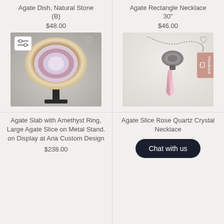Agate Dish, Natural Stone (B)
$48.00
[Figure (photo): Photo of an agate slab with amethyst ring on a black metal stand, displayed against a grey gradient background.]
Agate Rectangle Necklace 30"
$46.00
[Figure (photo): Photo of an agate slice rose quartz crystal necklace with dark metal chain and connector, pink crystal pendant, on light background.]
Agate Slab with Amethyst Ring, Large Agate Slice on Metal Stand. on Display at Aria Custom Design
$238.00
Agate Slice Rose Quartz Crystal Necklace
Chat with us